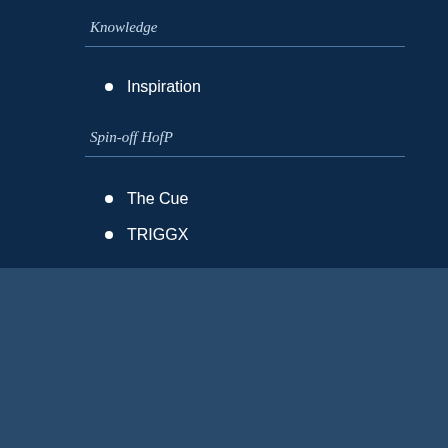Knowledge
Inspiration
Spin-off HofP
The Cue
TRIGGX
[Figure (infographic): Social media icons: LinkedIn, Twitter, YouTube]
[Figure (infographic): Dutch flag and UK flag icons for language selection]
Copyright 2022